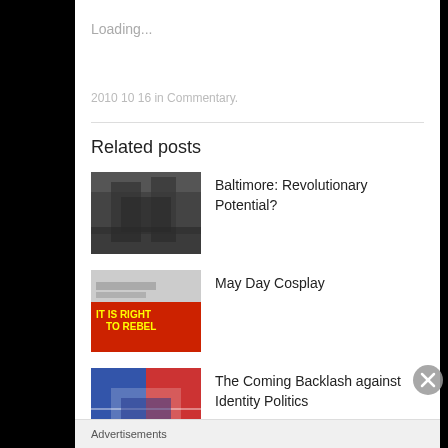Loading...
2010 10 16 in Commentary.
Related posts
Baltimore: Revolutionary Potential?
May Day Cosplay
The Coming Backlash against Identity Politics
Advertisements